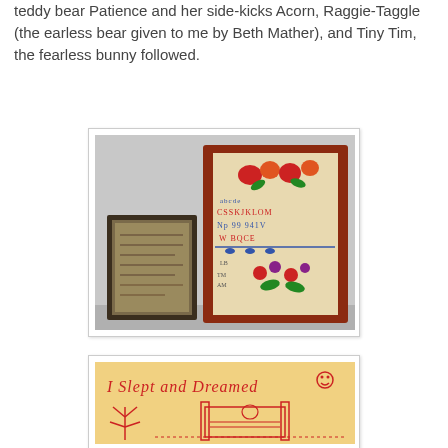teddy bear Patience and her side-kicks Acorn, Raggie-Taggle (the earless bear given to me by Beth Mather), and Tiny Tim, the fearless bunny followed.
[Figure (photo): Two framed needlework samplers displayed against a wall. The larger sampler on the right has a red decorative frame and displays embroidered letters, flowers and motifs in red, blue and green. The smaller sampler on the left is in a dark frame with simpler embroidery.]
[Figure (photo): Close-up of embroidery on a warm yellow-toned fabric showing red stitched text reading 'I Slept and Dreamed' with embroidered figures of people near a bed.]